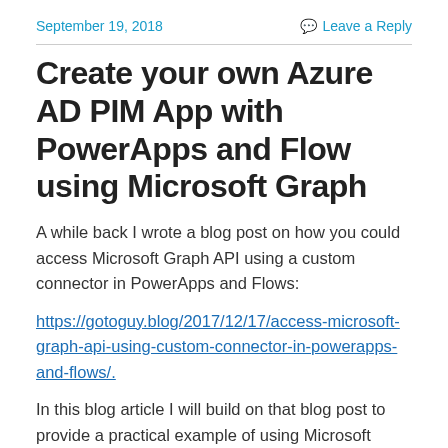September 19, 2018   Leave a Reply
Create your own Azure AD PIM App with PowerApps and Flow using Microsoft Graph
A while back I wrote a blog post on how you could access Microsoft Graph API using a custom connector in PowerApps and Flows:
https://gotoguy.blog/2017/12/17/access-microsoft-graph-api-using-custom-connector-in-powerapps-and-flows/.
In this blog article I will build on that blog post to provide a practical example of using Microsoft Graph, and create an Azure AD PIM (Privileged Identity Management) App for